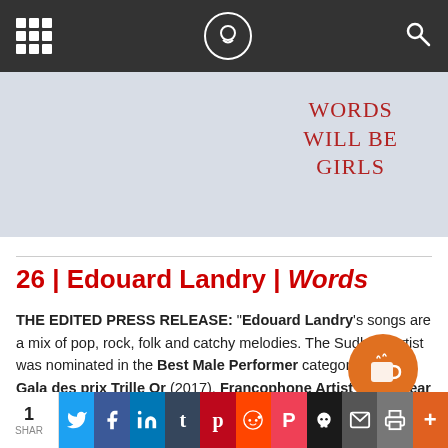Navigation bar with grid menu, logo, and search icon
[Figure (photo): Light blue-grey album art background with handwritten red text reading 'WORDS WILL BE GIRLS' in upper right area]
26 | Edouard Landry | Words
THE EDITED PRESS RELEASE: "Edouard Landry's songs are a mix of pop, rock, folk and catchy melodies. The Sudbury artist was nominated in the Best Male Performer category at the Gala des prix Trille Or (2017), Francophone Artist of the Year at the Country Music Association of Ontario Awards (2020), and his albums Pomme plastique II and L'Escalade were up for Best Album by a Francophone Artist at the Northern Ontario Music
1 SHAR | Share buttons: Twitter, Facebook, LinkedIn, Tumblr, Pinterest, Reddit, Pocket, Skull, Email, Print, More